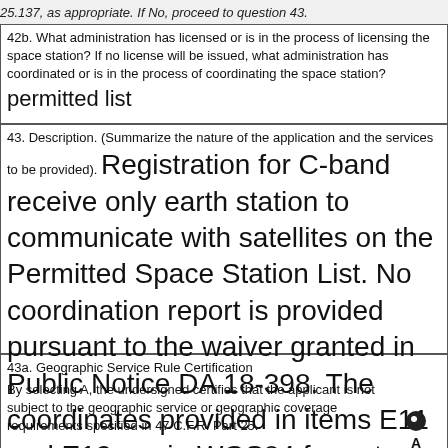25.137, as appropriate. If No, proceed to question 43.
42b. What administration has licensed or is in the process of licensing the space station? If no license will be issued, what administration has coordinated or is in the process of coordinating the space station? permitted list
43. Description. (Summarize the nature of the application and the services to be provided). Registration for C-band receive only earth station to communicate with satellites on the Permitted Space Station List. No coordination report is provided pursuant to the waiver granted in Public Notice DA 18-398. The coordinates provided in items E11 and E12 are in WGS84 format.
43a. Geographic Service Rule Certification
By selecting A, the undersigned certifies that the applicant is not subject to the geographic service or geographic coverage requirements specified in 47 C.F.R. Part 25.
By selecting B, the undersigned certifies that the applicant is subject to the geographic service or geographic coverage requirements specified in 47 C.F.R. Part 25 and will comply with such requirements.
By selecting C, the undersigned certifies that the applicant is subject to the geographic service or geographic coverage requirements specified in 47 C.F.R. Part 25